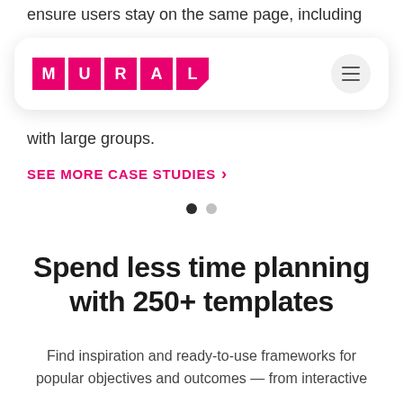ensure users stay on the same page, including
[Figure (screenshot): MURAL website navigation bar with pink MURAL logo letters on white rounded rectangle card with hamburger menu icon]
with large groups.
SEE MORE CASE STUDIES >
Spend less time planning with 250+ templates
Find inspiration and ready-to-use frameworks for popular objectives and outcomes — from interactive